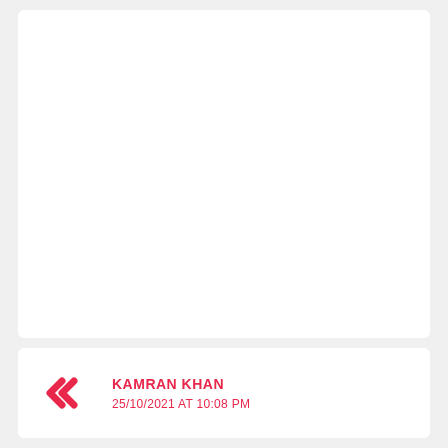KAMRAN KHAN
25/10/2021 AT 10:08 PM